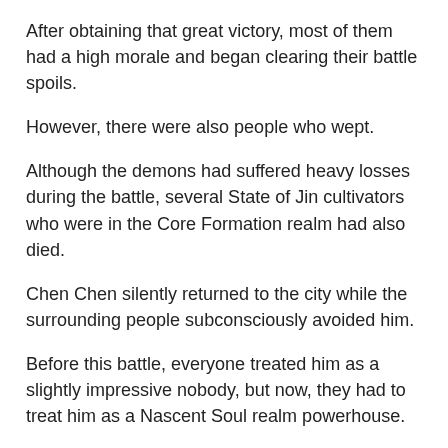After obtaining that great victory, most of them had a high morale and began clearing their battle spoils.
However, there were also people who wept.
Although the demons had suffered heavy losses during the battle, several State of Jin cultivators who were in the Core Formation realm had also died.
Chen Chen silently returned to the city while the surrounding people subconsciously avoided him.
Before this battle, everyone treated him as a slightly impressive nobody, but now, they had to treat him as a Nascent Soul realm powerhouse.
After all, he was terrifyingly powerful, managing to slash a Nascent Soul realm cultivator at the Golden Core realm.
As long as he did not fall, others would probably have to look up to him.